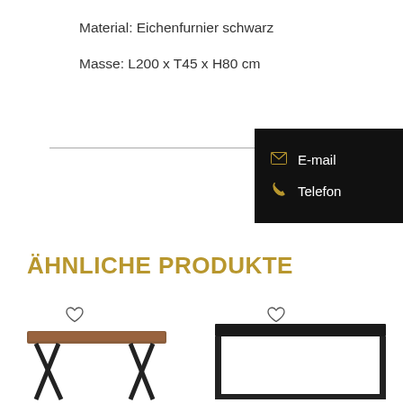Material: Eichenfurnier schwarz
Masse: L200 x T45 x H80 cm
[Figure (other): Black contact box with E-mail and Telefon options with gold icons]
Ähnliche Produkte
[Figure (photo): Product thumbnail: wooden side table with X-shaped black metal legs]
[Figure (photo): Product thumbnail: black metal console table with dark top surface]